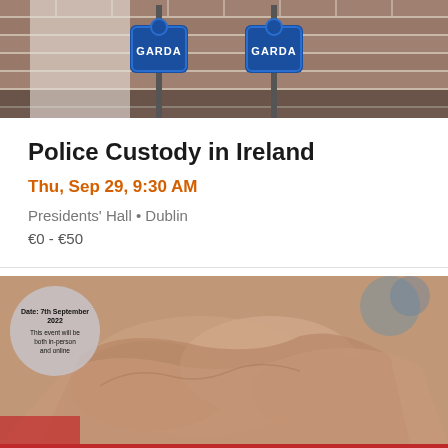[Figure (photo): Photograph of two blue Garda police signs against a brick wall background]
Police Custody in Ireland
Thu, Sep 29, 9:30 AM
Presidents' Hall • Dublin
€0 - €50
[Figure (photo): Banner image showing hands clasped together with overlay circle reading 'Date: 7th September 2022, This event will be both in-person and online'. Red bar at bottom reads '7th ESTHER Ireland Partnerships Forum' with subtitle 'Sustaining Health Partnerships: Working together to unlock potential']
[Figure (logo): Logos of ESTHER, HSE (Health Service Executive), and Irish Global Health Network]